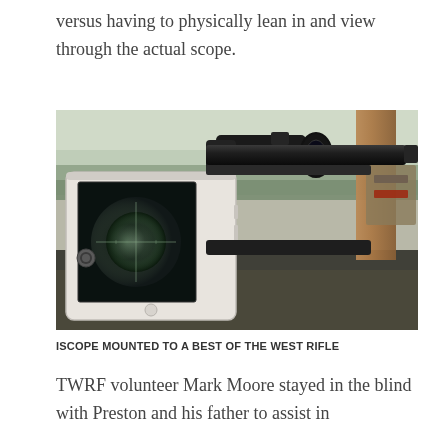versus having to physically lean in and view through the actual scope.
[Figure (photo): An iPhone mounted to a rifle scope (iScope on a Best of the West rifle), showing the scope's reticle/crosshair view on the phone screen. A green field and grey sky are visible in the background.]
ISCOPE MOUNTED TO A BEST OF THE WEST RIFLE
TWRF volunteer Mark Moore stayed in the blind with Preston and his father to assist in